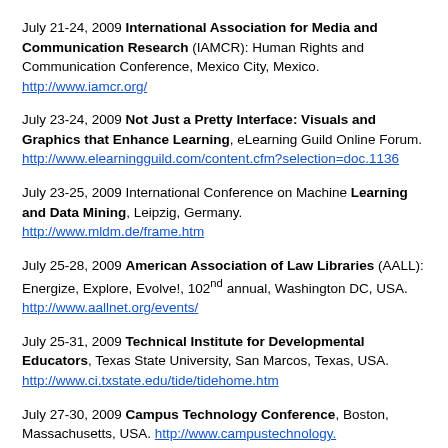July 21-24, 2009 International Association for Media and Communication Research (IAMCR): Human Rights and Communication Conference, Mexico City, Mexico. http://www.iamcr.org/
July 23-24, 2009 Not Just a Pretty Interface: Visuals and Graphics that Enhance Learning, eLearning Guild Online Forum. http://www.elearningguild.com/content.cfm?selection=doc.1136
July 23-25, 2009 International Conference on Machine Learning and Data Mining, Leipzig, Germany. http://www.mldm.de/frame.htm
July 25-28, 2009 American Association of Law Libraries (AALL): Energize, Explore, Evolve!, 102nd annual, Washington DC, USA. http://www.aallnet.org/events/
July 25-31, 2009 Technical Institute for Developmental Educators, Texas State University, San Marcos, Texas, USA. http://www.ci.txstate.edu/tide/tidehome.htm
July 27-30, 2009 Campus Technology Conference, Boston, Massachusetts, USA. http://www.campustechnology.com/mcv/events/conference/Summer08/